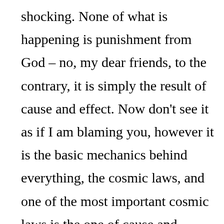shocking. None of what is happening is punishment from God – no, my dear friends, to the contrary, it is simply the result of cause and effect. Now don't see it as if I am blaming you, however it is the basic mechanics behind everything, the cosmic laws, and one of the most important cosmic laws is the one of cause and effect. As you have not yet purged certain elements within mankind, such as envy, greed, and hatred, the changing vibration of earth is forcing mankind to...